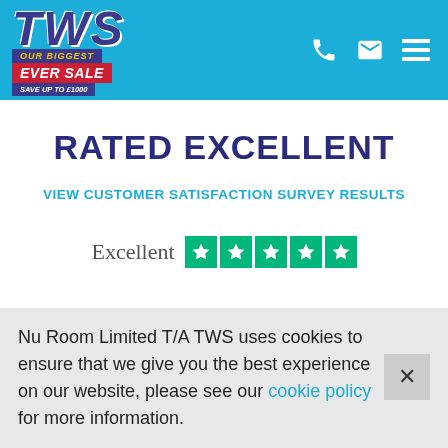[Figure (logo): TWS logo with 'Our Biggest Ever Sale - Save up to £1000' badge on a teal/cyan header bar with phone, email, and menu icons]
RATED EXCELLENT
VIEW CUSTOMER SATISFACTION SURVEY RESULTS
[Figure (other): Partially visible 'Excellent' text with five green Trustpilot star rating blocks]
Nu Room Limited T/A TWS uses cookies to ensure that we give you the best experience on our website, please see our cookie policy for more information.